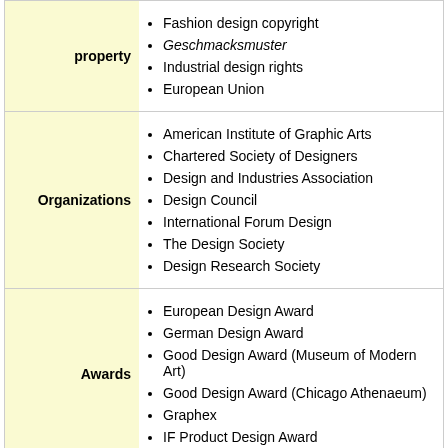| Category | Items |
| --- | --- |
| property | Fashion design copyright
Geschmacksmuster
Industrial design rights
European Union |
| Organizations | American Institute of Graphic Arts
Chartered Society of Designers
Design and Industries Association
Design Council
International Forum Design
The Design Society
Design Research Society |
| Awards | European Design Award
German Design Award
Good Design Award (Museum of Modern Art)
Good Design Award (Chicago Athenaeum)
Graphex
IF Product Design Award |